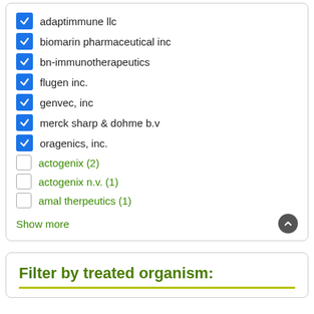✓ adaptimmune llc
✓ biomarin pharmaceutical inc
✓ bn-immunotherapeutics
✓ flugen inc.
✓ genvec, inc
✓ merck sharp & dohme b.v
✓ oragenics, inc.
☐ actogenix (2)
☐ actogenix n.v. (1)
☐ amal therpeutics (1)
Show more
Filter by treated organism: